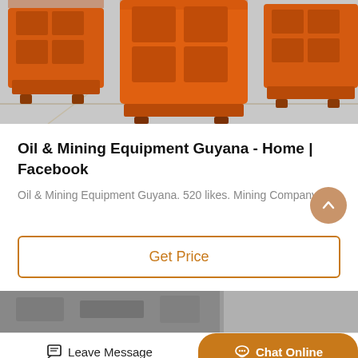[Figure (photo): Orange industrial mining/crushing equipment machines arranged in a warehouse with grey concrete floor]
Oil & Mining Equipment Guyana - Home | Facebook
Oil & Mining Equipment Guyana. 520 likes. Mining Company
Get Price
[Figure (photo): Partial view of industrial equipment, bottom of page]
Leave Message
Chat Online